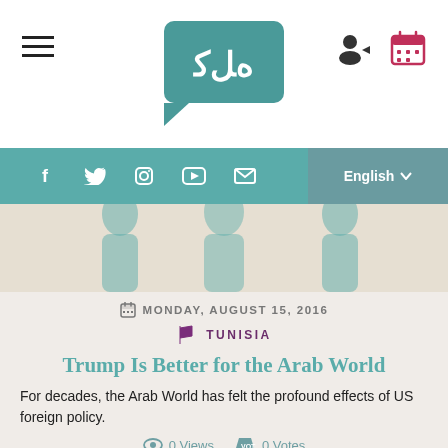Website header with hamburger menu, logo, user/login icons
[Figure (screenshot): Social media navigation bar with Facebook, Twitter, Instagram, YouTube, email icons and English language selector]
[Figure (photo): Hero image strip with abstract teal figures on a beige background]
MONDAY, AUGUST 15, 2016
TUNISIA
Trump Is Better for the Arab World
For decades, the Arab World has felt the profound effects of US foreign policy.
0 Views  0 Votes
READ MORE